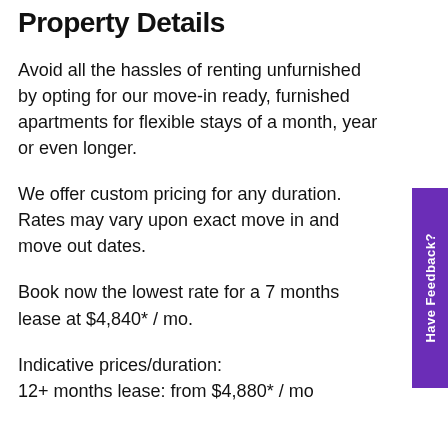Property Details
Avoid all the hassles of renting unfurnished by opting for our move-in ready, furnished apartments for flexible stays of a month, year or even longer.
We offer custom pricing for any duration. Rates may vary upon exact move in and move out dates.
Book now the lowest rate for a 7 months lease at $4,840* / mo.
Indicative prices/duration:
12+ months lease: from $4,880* / mo